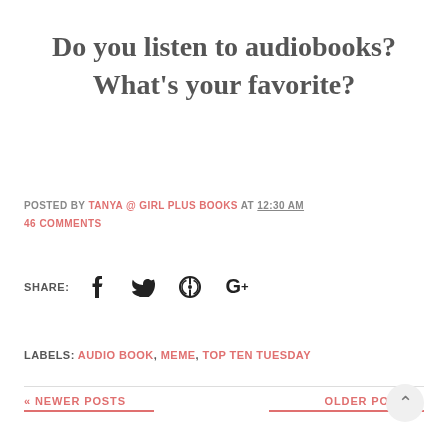Do you listen to audiobooks? What's your favorite?
POSTED BY TANYA @ GIRL PLUS BOOKS AT 12:30 AM
46 COMMENTS
SHARE:
LABELS: AUDIO BOOK, MEME, TOP TEN TUESDAY
« NEWER POSTS
OLDER POSTS »